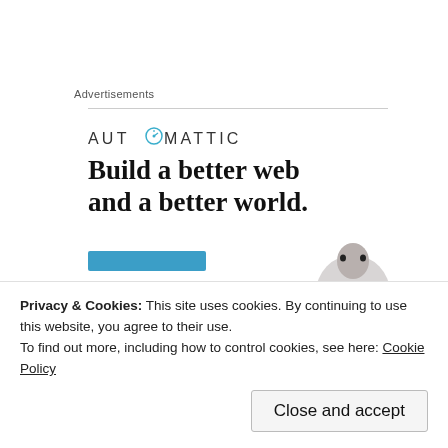Advertisements
[Figure (logo): Automattic logo with compass icon replacing the O]
[Figure (illustration): Automattic advertisement: 'Build a better web and a better world.' with blue button and person photo]
Let's ignore all the ideology for a moment and think about this
Privacy & Cookies: This site uses cookies. By continuing to use this website, you agree to their use.
To find out more, including how to control cookies, see here: Cookie Policy
Close and accept